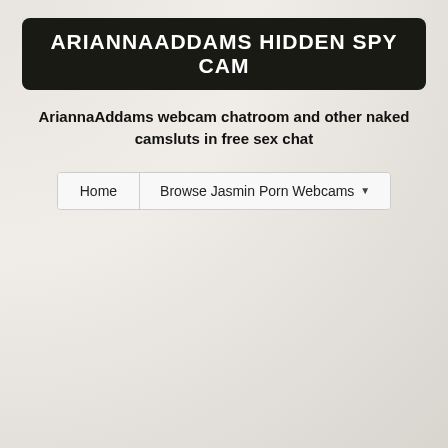ARIANNAADDAMS HIDDEN SPY CAM
AriannaAddams webcam chatroom and other naked camsluts in free sex chat
[Figure (screenshot): Navigation bar with 'Home' and 'Browse Jasmin Porn Webcams' menu items]